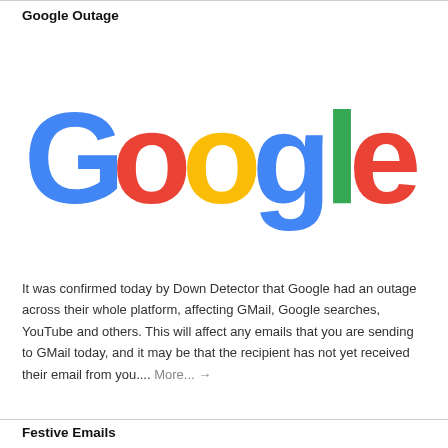Google Outage
[Figure (logo): Google logo in multicolor letters: G (blue), o (red), o (yellow), g (blue), l (green), e (red)]
It was confirmed today by Down Detector that Google had an outage across their whole platform, affecting GMail, Google searches, YouTube and others. This will affect any emails that you are sending to GMail today, and it may be that the recipient has not yet received their email from you.... More... →
Festive Emails